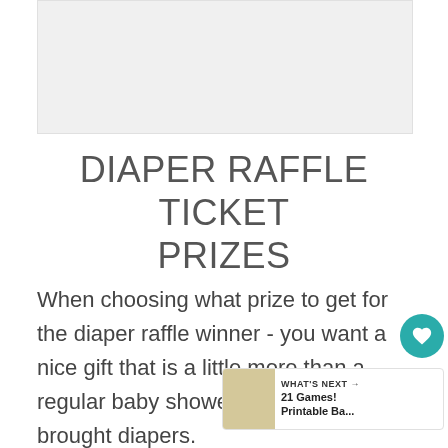[Figure (other): Gray image placeholder box at the top of the page]
DIAPER RAFFLE TICKET PRIZES
When choosing what prize to get for the diaper raffle winner - you want a nice gift that is a little more than a regular baby shower since guests brought diapers.